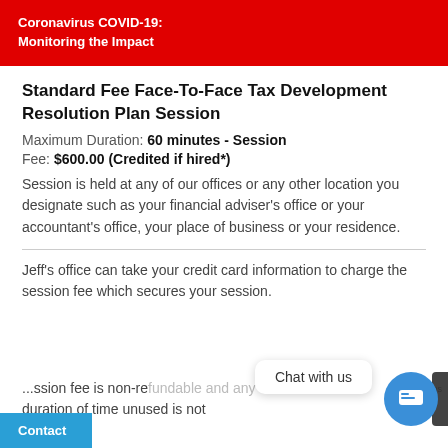Coronavirus COVID-19:
Monitoring the Impact
Standard Fee Face-To-Face Tax Development Resolution Plan Session
Maximum Duration: 60 minutes - Session
Fee: $600.00 (Credited if hired*)
Session is held at any of our offices or any other location you designate such as your financial adviser's office or your accountant's office, your place of business or your residence.
Jeff's office can take your credit card information to charge the session fee which secures your session.
...ssion fee is non-refundable and any duration of time unused is not